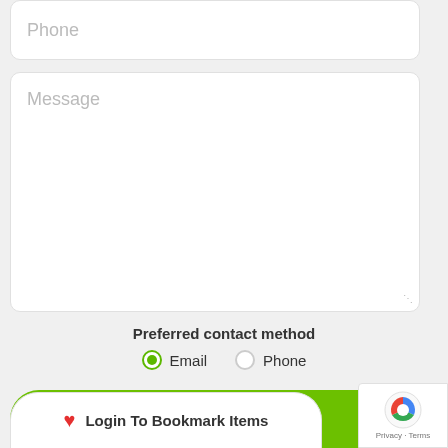[Figure (screenshot): Phone input field with placeholder text 'Phone' in a white rounded rectangle]
[Figure (screenshot): Message textarea with placeholder text 'Message' in a white rounded rectangle with resize handle]
Preferred contact method
[Figure (screenshot): Radio buttons for preferred contact method: Email (selected) and Phone]
[Figure (screenshot): Green 'Request Pricing' button]
[Figure (screenshot): reCAPTCHA badge with Privacy and Terms links]
[Figure (screenshot): Login To Bookmark Items button at bottom]